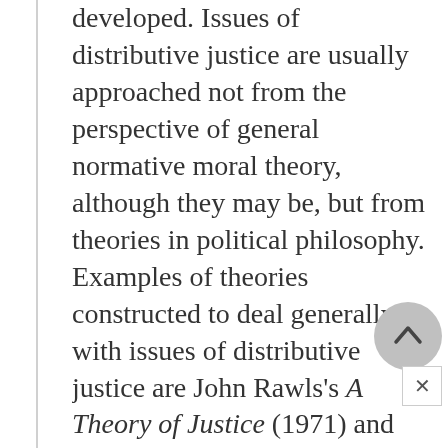developed. Issues of distributive justice are usually approached not from the perspective of general normative moral theory, although they may be, but from theories in political philosophy. Examples of theories constructed to deal generally with issues of distributive justice are John Rawls's A Theory of Justice (1971) and the libertarian theory found in Robert Nozick's Anarchy, State, and Utopia (1974). However, as with normative moral theories, these